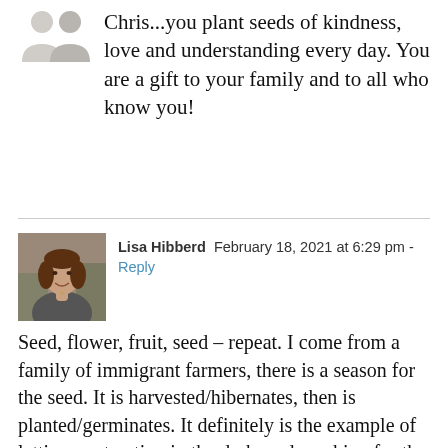Chris...you plant seeds of kindness, love and understanding every day. You are a gift to your family and to all who know you!
Lisa Hibberd  February 18, 2021 at 6:29 pm - Reply
Seed, flower, fruit, seed – repeat. I come from a family of immigrant farmers, there is a season for the seed. It is harvested/hibernates, then is planted/germinates. It definitely is the example of letting go, trusting in the dark, and reaching for the light. We plant seeds sometimes not for ourselves,